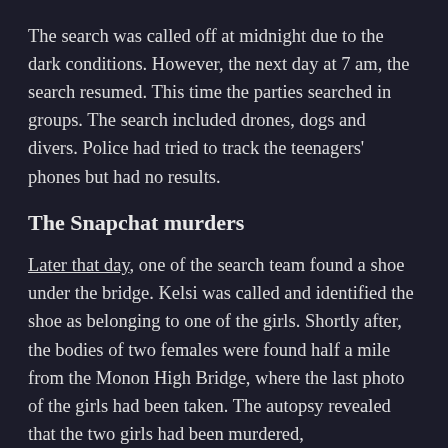The search was called off at midnight due to the dark conditions. However, the next day at 7 am, the search resumed. This time the parties searched in groups. The search included drones, dogs and divers. Police had tried to track the teenagers' phones but had no results.
The Snapchat murders
Later that day, one of the search team found a shoe under the bridge. Kelsi was called and identified the shoe as belonging to one of the girls. Shortly after, the bodies of two females were found half a mile from the Monon High Bridge, where the last photo of the girls had been taken. The autopsy revealed that the two girls had been murdered,